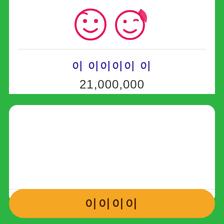[Figure (illustration): Two pink cartoon face icons (smiley and winking face with leaf) centered at top of white card]
이 이이이이 이
21,000,000
-- --
이이이이